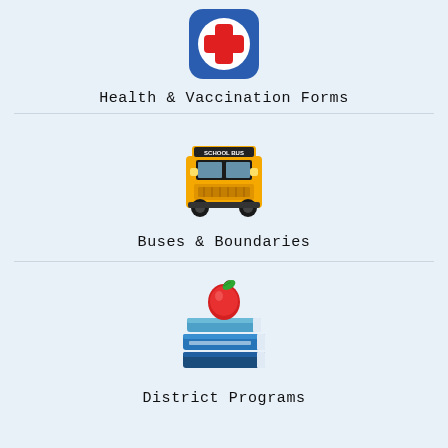[Figure (illustration): Blue rounded square icon with a red cross (medical/health symbol) in the center]
Health & Vaccination Forms
[Figure (illustration): Yellow school bus icon viewed from the front with 'SCHOOL BUS' text on top]
Buses & Boundaries
[Figure (illustration): Stack of blue books with a red apple on top and a green leaf]
District Programs